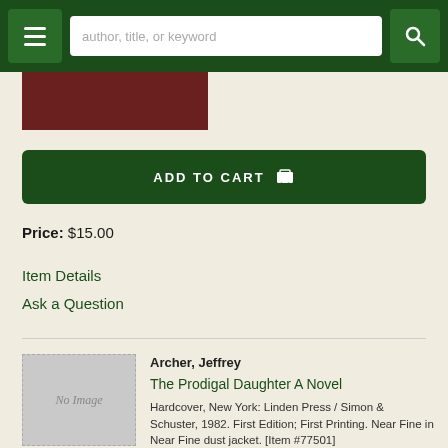author, title, or keyword
[Figure (photo): Partial view of a book cover, dark red/maroon color, cropped at bottom of nav bar]
ADD TO CART
Price: $15.00
Item Details
Ask a Question
[Figure (photo): No Image placeholder — grey rectangle with dashed border and italic 'No Image' text]
Archer, Jeffrey
The Prodigal Daughter A Novel
Hardcover, New York: Linden Press / Simon & Schuster, 1982. First Edition; First Printing. Near Fine in Near Fine dust jacket. [Item #77501]
More >